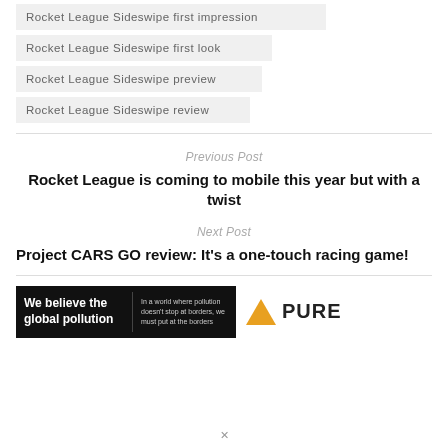Rocket League Sideswipe first impression
Rocket League Sideswipe first look
Rocket League Sideswipe preview
Rocket League Sideswipe review
Previous Post
Rocket League is coming to mobile this year but with a twist
Next Post
Project CARS GO review: It’s a one-touch racing game!
[Figure (other): Advertisement banner for PURE: left side shows black background with white bold text 'We believe the global pollution' and smaller grey text 'In a world where pollution doesn’t stop at borders, we must put at the matter'; right side shows orange/yellow triangle logo and bold text 'PURE']